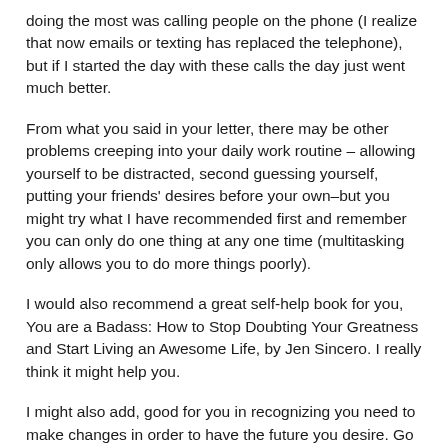doing the most was calling people on the phone (I realize that now emails or texting has replaced the telephone), but if I started the day with these calls the day just went much better.
From what you said in your letter, there may be other problems creeping into your daily work routine – allowing yourself to be distracted, second guessing yourself, putting your friends' desires before your own–but you might try what I have recommended first and remember you can only do one thing at any one time (multitasking only allows you to do more things poorly).
I would also recommend a great self-help book for you, You are a Badass: How to Stop Doubting Your Greatness and Start Living an Awesome Life, by Jen Sincero. I really think it might help you.
I might also add, good for you in recognizing you need to make changes in order to have the future you desire. Go get 'em.
Write back if you have any further questions. I'd be interested to know if any of my advice helps you achieve your goals. Good luck.